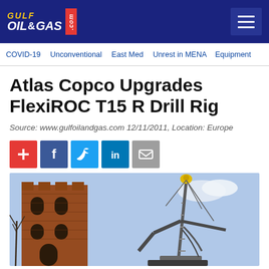GULF OIL&GAS .com
COVID-19
Unconventional
East Med
Unrest in MENA
Equipment
Atlas Copco Upgrades FlexiROC T15 R Drill Rig
Source: www.gulfoilandgas.com 12/11/2011, Location: Europe
[Figure (photo): FlexiROC T15 R drill rig photographed near a historic brick tower building against a blue sky, showing the drill mast and hydraulic arm.]